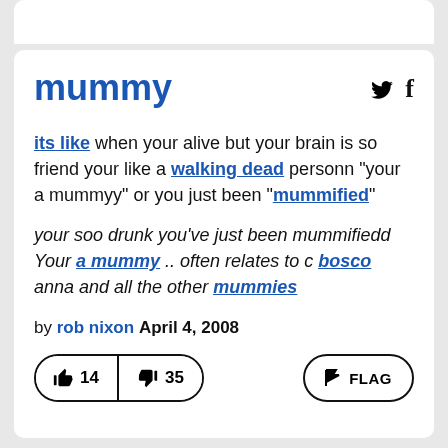mummy
its like when your alive but your brain is so friend your like a walking dead personn "your a mummyy" or you just been "mummified"
your soo drunk you've just been mummifiedd Your a mummy .. often relates to c bosco anna and all the other mummies
by rob nixon April 4, 2008
👍 14  👎 35  FLAG